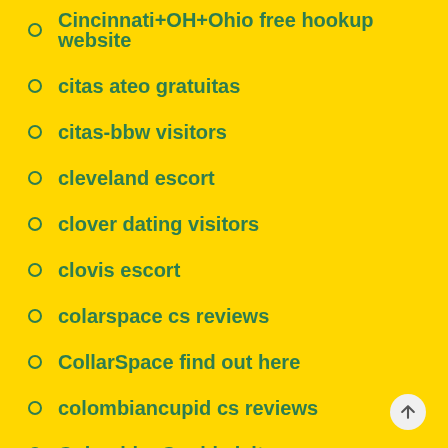Cincinnati+OH+Ohio free hookup website
citas ateo gratuitas
citas-bbw visitors
cleveland escort
clover dating visitors
clovis escort
colarspace cs reviews
CollarSpace find out here
colombiancupid cs reviews
ColombianCupid visitors
Compatible Partners visitors